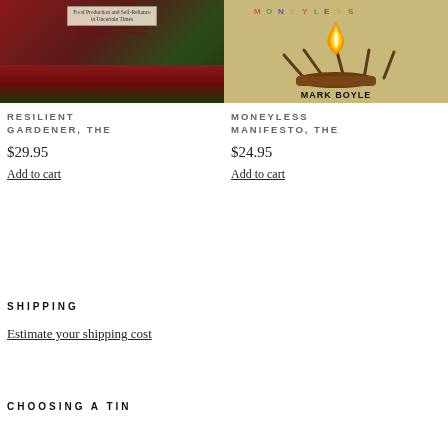[Figure (photo): Book cover of 'The Resilient Gardener: Food Production and Self-Reliance in Uncertain Times' showing corn and leafy vegetables]
[Figure (photo): Book cover of 'The Moneyless Manifesto' by Mark Boyle showing illustrated campfire with sticks]
RESILIENT GARDENER, THE
MONEYLESS MANIFESTO, THE
$29.95
$24.95
Add to cart
Add to cart
SHIPPING
Estimate your shipping cost
CHOOSING A TIN